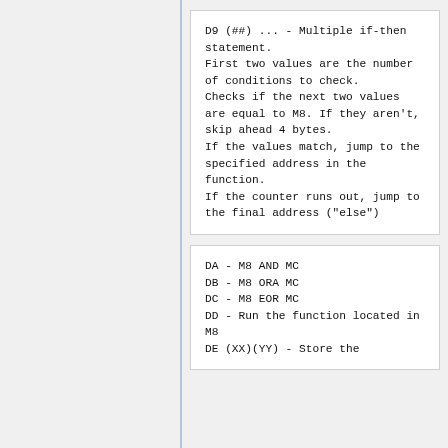D9 (##) ... - Multiple if-then statement.
First two values are the number of conditions to check.
Checks if the next two values are equal to M8. If they aren't, skip ahead 4 bytes.
If the values match, jump to the specified address in the function.
If the counter runs out, jump to the final address ("else")
DA - M8 AND MC
DB - M8 ORA MC
DC - M8 EOR MC
DD - Run the function located in M8
DE (XX)(YY) - Store the